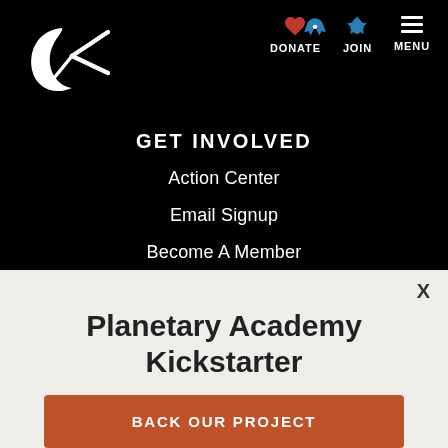[Figure (logo): Planetary Society logo — white crescent and arrow shapes on black background]
[Figure (infographic): Navigation icons: heart (donate, red), rocket (join, blue), hamburger menu (white)]
GET INVOLVED
Action Center
Email Signup
Become A Member
Planetary Academy Kickstarter
BACK OUR PROJECT